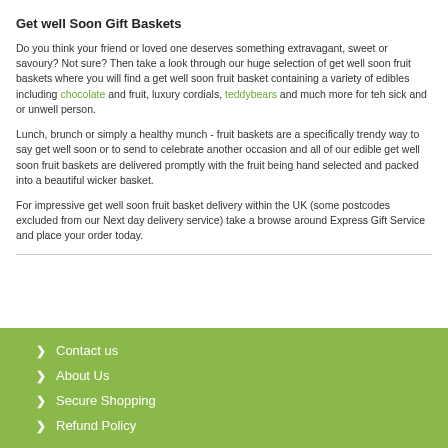Get well Soon Gift Baskets
Do you think your friend or loved one deserves something extravagant, sweet or savoury? Not sure? Then take a look through our huge selection of get well soon fruit baskets where you will find a get well soon fruit basket containing a variety of edibles including chocolate and fruit, luxury cordials, teddybears and much more for teh sick and or unwell person.
Lunch, brunch or simply a healthy munch - fruit baskets are a specifically trendy way to say get well soon or to send to celebrate another occasion and all of our edible get well soon fruit baskets are delivered promptly with the fruit being hand selected and packed into a beautiful wicker basket.
For impressive get well soon fruit basket delivery within the UK (some postcodes excluded from our Next day delivery service) take a browse around Express Gift Service and place your order today.
Contact us
About Us
Secure Shopping
Refund Policy